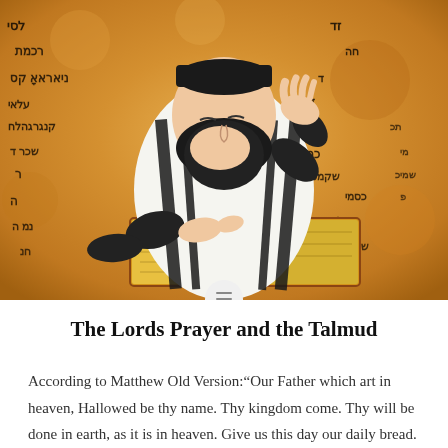[Figure (illustration): Painting of a rabbi wearing a tallit (prayer shawl) reading from an open book with yellow pages, set against a golden-orange background covered with Hebrew text/script.]
The Lords Prayer and the Talmud
According to Matthew Old Version:"Our Father which art in heaven, Hallowed be thy name. Thy kingdom come. Thy will be done in earth, as it is in heaven. Give us this day our daily bread. And forgive us our debts as we forgive our debtors.